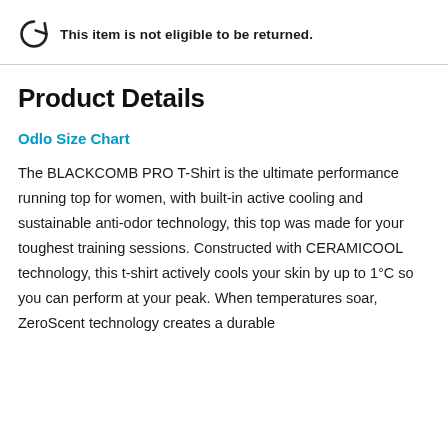This item is not eligible to be returned.
Product Details
Odlo Size Chart
The BLACKCOMB PRO T-Shirt is the ultimate performance running top for women, with built-in active cooling and sustainable anti-odor technology, this top was made for your toughest training sessions. Constructed with CERAMICOOL technology, this t-shirt actively cools your skin by up to 1°C so you can perform at your peak. When temperatures soar, ZeroScent technology creates a durable